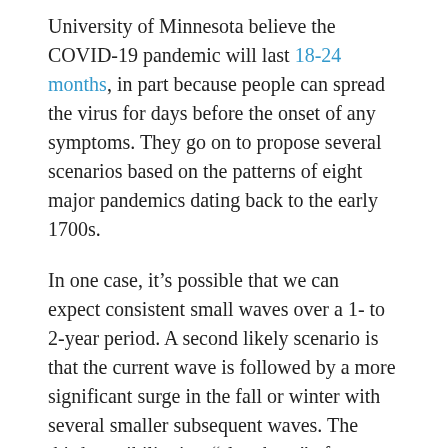University of Minnesota believe the COVID-19 pandemic will last 18-24 months, in part because people can spread the virus for days before the onset of any symptoms. They go on to propose several scenarios based on the patterns of eight major pandemics dating back to the early 1700s.
In one case, it's possible that we can expect consistent small waves over a 1- to 2-year period. A second likely scenario is that the current wave is followed by a more significant surge in the fall or winter with several smaller subsequent waves. The third possibility is a "slow burn" of cases that don't have a clear pattern but do include geographically-isolated hot spots.